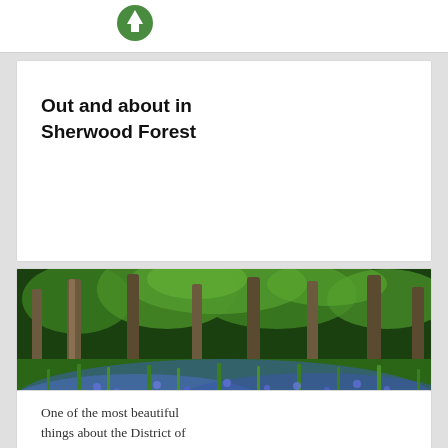[Figure (logo): Partial green circular logo at top of page]
Out and about in Sherwood Forest
[Figure (photo): Forest scene with bluebells covering the ground and tall trees with lush green foliage in the background]
One of the most beautiful things about the District of